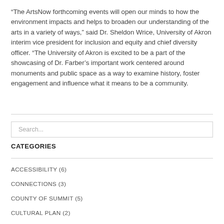“The ArtsNow forthcoming events will open our minds to how the environment impacts and helps to broaden our understanding of the arts in a variety of ways,” said Dr. Sheldon Wrice, University of Akron interim vice president for inclusion and equity and chief diversity officer. “The University of Akron is excited to be a part of the showcasing of Dr. Farber’s important work centered around monuments and public space as a way to examine history, foster engagement and influence what it means to be a community.
CATEGORIES
ACCESSIBILITY (6)
CONNECTIONS (3)
COUNTY OF SUMMIT (5)
CULTURAL PLAN (2)
ECONOMIC IMPACT (5)